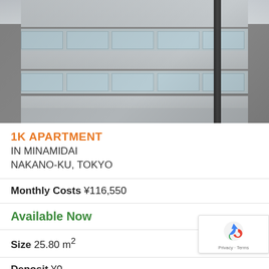[Figure (photo): Exterior photograph of a modern Japanese apartment building with glass balcony railings, multiple floors, and a utility pole visible on the right side]
1K APARTMENT
IN MINAMIDAI
NAKANO-KU, TOKYO
Monthly Costs ¥116,550
Available Now
Size 25.80 m²
Deposit ¥0